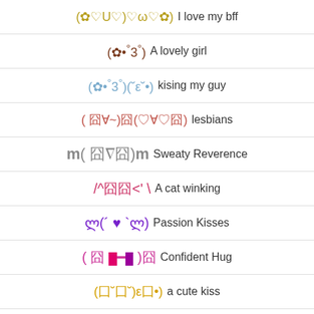(✿♡U♡)♡ω♡✿)  I love my bff
(✿•°3°)  A lovely girl
(✿•°3°)(˘ε˘•)  kising my guy
( 囧∀~)囧(♡∀♡囧)  lesbians
m( 囧∇囧)m  Sweaty Reverence
/^囧囧<' \  A cat winking
ლ(´ ♥ `ლ)  Passion Kisses
( 囧 ■━■ )囧  Confident Hug
(囗˘囗˘)ε囗•)  a cute kiss